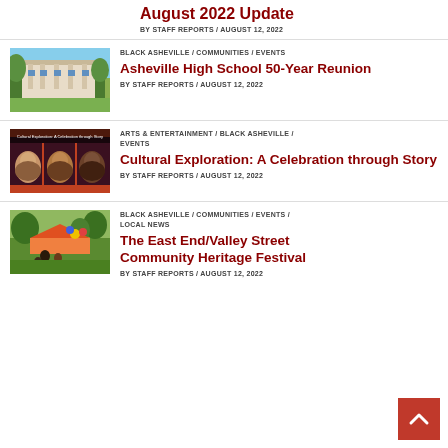August 2022 Update
BY STAFF REPORTS / AUGUST 12, 2022
BLACK ASHEVILLE / COMMUNITIES / EVENTS
Asheville High School 50-Year Reunion
BY STAFF REPORTS / AUGUST 12, 2022
ARTS & ENTERTAINMENT / BLACK ASHEVILLE / EVENTS
Cultural Exploration: A Celebration through Story
BY STAFF REPORTS / AUGUST 12, 2022
BLACK ASHEVILLE / COMMUNITIES / EVENTS / LOCAL NEWS
The East End/Valley Street Community Heritage Festival
BY STAFF REPORTS / AUGUST 12, 2022